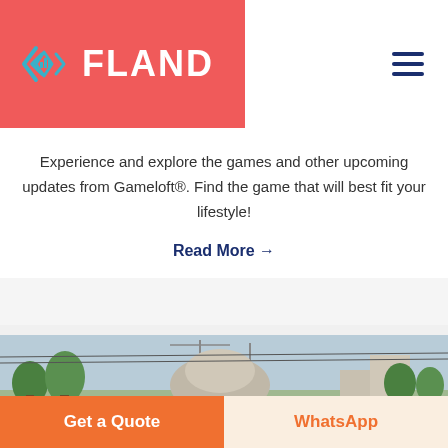[Figure (logo): FLAND logo with geometric diamond-arrow icon on red background]
Experience and explore the games and other upcoming updates from Gameloft®. Find the game that will best fit your lifestyle!
Read More →
[Figure (photo): Outdoor street scene with trees and buildings]
Get a Quote
WhatsApp